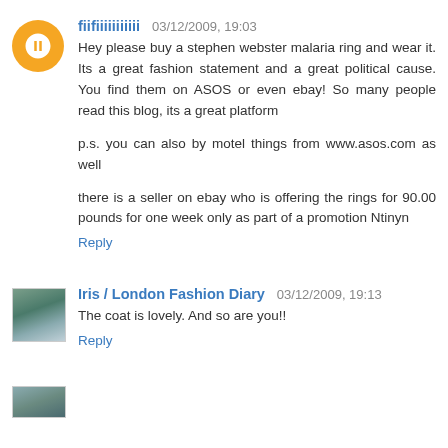fiifiiiiiiiiiii 03/12/2009, 19:03
Hey please buy a stephen webster malaria ring and wear it. Its a great fashion statement and a great political cause. You find them on ASOS or even ebay! So many people read this blog, its a great platform

p.s. you can also by motel things from www.asos.com as well

there is a seller on ebay who is offering the rings for 90.00 pounds for one week only as part of a promotion Ntinyn
Reply
Iris / London Fashion Diary 03/12/2009, 19:13
The coat is lovely. And so are you!!
Reply